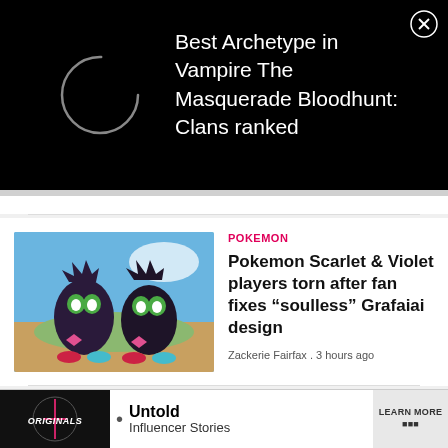[Figure (screenshot): Black banner ad with a white loading spinner ring on the left and text on the right reading: Best Archetype in Vampire The Masquerade Bloodhunt: Clans ranked, with a close X button top-right]
Best Archetype in Vampire The Masquerade Bloodhunt: Clans ranked
POKEMON
[Figure (photo): Pokemon Scarlet and Violet Grafaiai character illustration showing two dark-colored raccoon-like Pokemon against a colorful sky background]
Pokemon Scarlet & Violet players torn after fan fixes “soulless” Grafaiai design
Zackerie Fairfax . 3 hours ago
[Figure (photo): Partially visible strip of images at bottom of page showing a person and food]
[Figure (screenshot): Bottom advertisement banner for Originals - Untold Influencer Stories with LEARN MORE button]